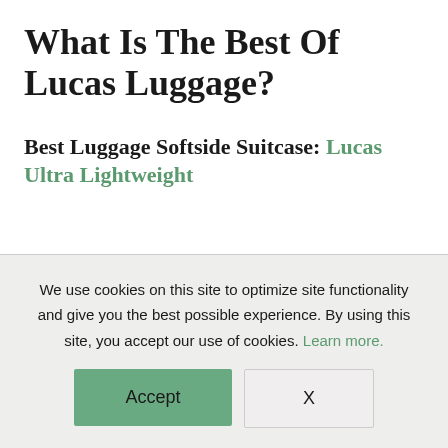What Is The Best Of Lucas Luggage?
Best Luggage Softside Suitcase: Lucas Ultra Lightweight
We use cookies on this site to optimize site functionality and give you the best possible experience. By using this site, you accept our use of cookies. Learn more.
Accept
X